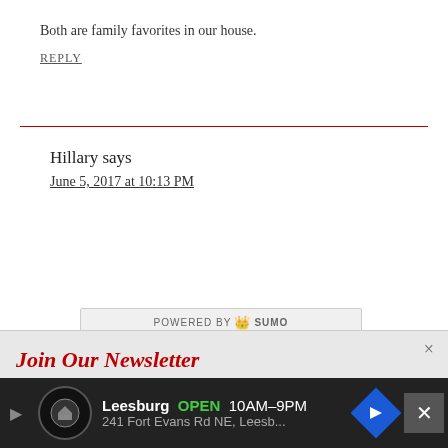Both are family favorites in our house.
REPLY
Hillary says
June 5, 2017 at 10:13 PM
[Figure (screenshot): POWERED BY SUMO badge overlay]
Join Our Newsletter
Free Delivery! Receive previews of recipes, printables, and other fun news.
Enter your email address
[Figure (infographic): Advertisement bar: Leesburg OPEN 10AM-9PM, 241 Fort Evans Rd NE, Leesb...]